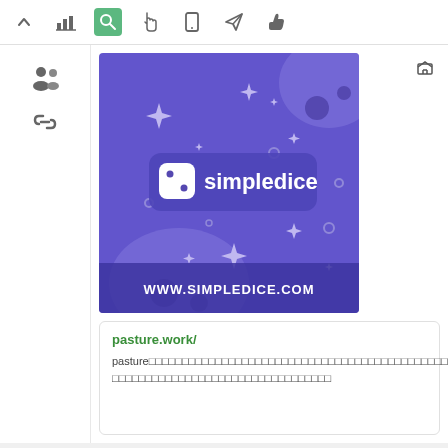[Figure (screenshot): Top toolbar with icons: up arrow, bar chart, search (active/green), hand pointer, mobile phone, paper plane, thumbs up]
[Figure (screenshot): Left sidebar icons: group of people, chain/link]
[Figure (illustration): simpledice.com advertisement banner: purple/indigo background with sparkle stars, dice icon, 'simpledice' logo text, and 'WWW.SIMPLEDICE.COM' at the bottom]
pasture.work/
pasture